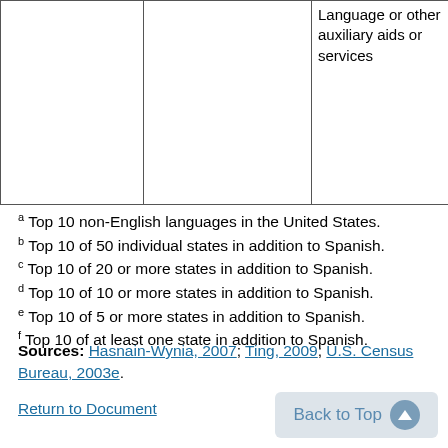|  |  | Language or other auxiliary aids or services | Speech L... |
| --- | --- | --- | --- |
|  |  |  |  |
a Top 10 non-English languages in the United States.
b Top 10 of 50 individual states in addition to Spanish.
c Top 10 of 20 or more states in addition to Spanish.
d Top 10 of 10 or more states in addition to Spanish.
e Top 10 of 5 or more states in addition to Spanish.
f Top 10 of at least one state in addition to Spanish.
Sources: Hasnain-Wynia, 2007; Ting, 2009; U.S. Census Bureau, 2003e.
Return to Document